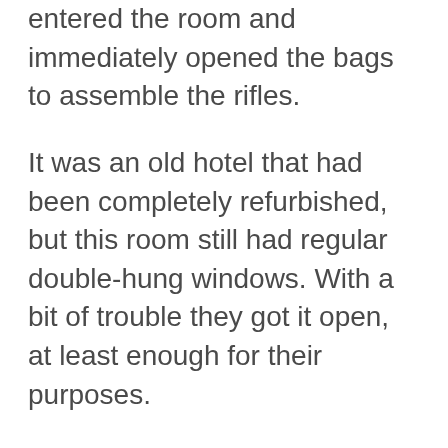entered the room and immediately opened the bags to assemble the rifles.
It was an old hotel that had been completely refurbished, but this room still had regular double-hung windows. With a bit of trouble they got it open, at least enough for their purposes.
Across the street was a raised runway, with a podium at the front and leading to a transverse stage in the rear. The runway was surrounded by large crowds, and they could hear the expectant noises. There were bulletproof glass walls surrounding the podium on three sides.